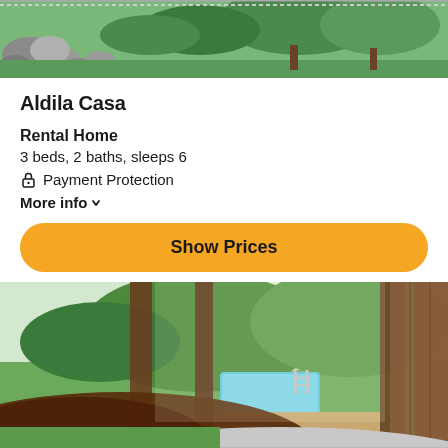[Figure (photo): Outdoor garden/nature scene with rocks, grass and trees — top banner photo]
Aldila Casa
Rental Home
3 beds, 2 baths, sleeps 6
Payment Protection
More info
Show Prices
[Figure (photo): Interior bedroom view looking out through large glass/wood doors to a garden with a swimming pool]